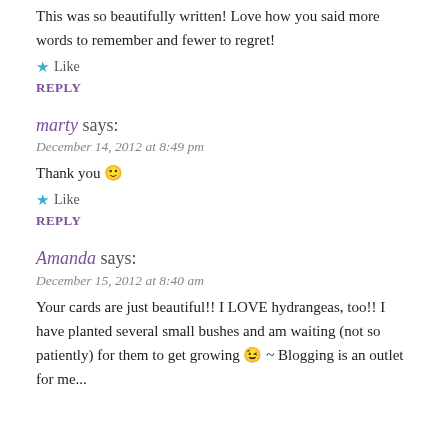This was so beautifully written! Love how you said more words to remember and fewer to regret!
★ Like
REPLY
marty says:
December 14, 2012 at 8:49 pm
Thank you 🙂
★ Like
REPLY
Amanda says:
December 15, 2012 at 8:40 am
Your cards are just beautiful!! I LOVE hydrangeas, too!! I have planted several small bushes and am waiting (not so patiently) for them to get growing 😉 ~ Blogging is an outlet for me...